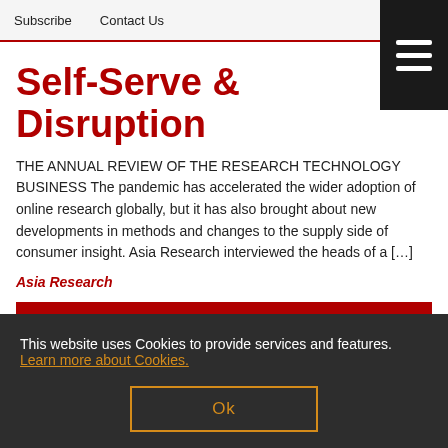Subscribe   Contact Us
Self-Serve & Disruption
THE ANNUAL REVIEW OF THE RESEARCH TECHNOLOGY BUSINESS The pandemic has accelerated the wider adoption of online research globally, but it has also brought about new developments in methods and changes to the supply side of consumer insight. Asia Research interviewed the heads of a […]
Asia Research
CASE STUDIES ↗
[Figure (pie-chart): Partial view of a pie chart with green and grey segments, label reads: Yes, with CRT officially...]
This website uses Cookies to provide services and features. Learn more about Cookies.